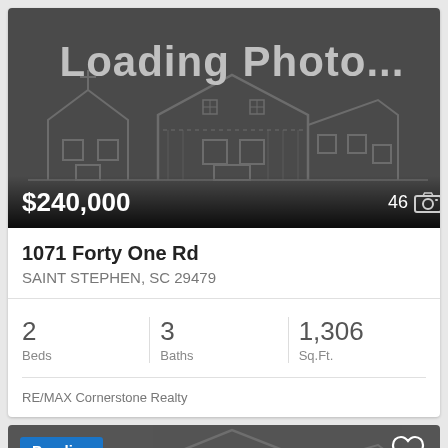[Figure (photo): Loading Photo placeholder with house outline silhouette on dark background, showing price $240,000 and photo count 46]
1071 Forty One Rd
SAINT STEPHEN, SC 29479
2 Beds
3 Baths
1,306 Sq.Ft.
RE/MAX Cornerstone Realty
[Figure (screenshot): Second listing card with Pending badge in blue and heart icon, dark gray background with partial house outline]